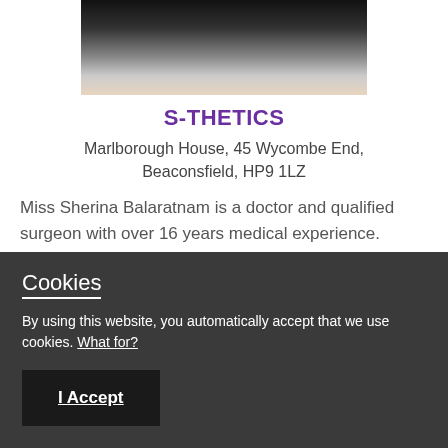[Figure (photo): Portrait photo of Miss Sherina Balaratnam, a woman in a white outfit against a grey background]
S-THETICS
Marlborough House, 45 Wycombe End, Beaconsfield, HP9 1LZ
Miss Sherina Balaratnam is a doctor and qualified surgeon with over 16 years medical experience. During this time she trained in plastic surgery for 6
Cookies
By using this website, you automatically accept that we use cookies. What for?
I Accept